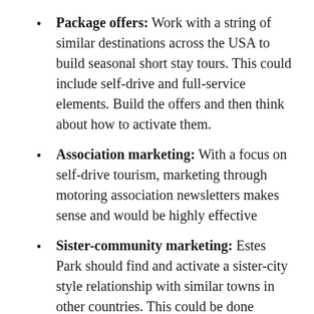Package offers: Work with a string of similar destinations across the USA to build seasonal short stay tours. This could include self-drive and full-service elements. Build the offers and then think about how to activate them.
Association marketing: With a focus on self-drive tourism, marketing through motoring association newsletters makes sense and would be highly effective
Sister-community marketing: Estes Park should find and activate a sister-city style relationship with similar towns in other countries. This could be done through organisations such as Rotary
Web: I am sure that some of my…